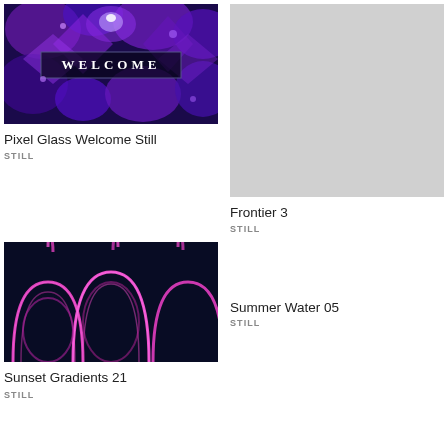[Figure (photo): Pixel Glass Welcome Still thumbnail - purple/blue kaleidoscopic pattern with WELCOME text in center]
Pixel Glass Welcome Still
STILL
[Figure (photo): Frontier 3 thumbnail - solid light gray placeholder image]
Frontier 3
STILL
[Figure (photo): Sunset Gradients 21 thumbnail - neon pink/magenta glowing oval arches on dark navy background]
Sunset Gradients 21
STILL
Summer Water 05
STILL